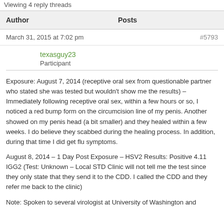Viewing 4 reply threads
| Author | Posts |
| --- | --- |
March 31, 2015 at 7:02 pm   #5793
texasguy23
Participant
Exposure: August 7, 2014 (receptive oral sex from questionable partner who stated she was tested but wouldn't show me the results) – Immediately following receptive oral sex, within a few hours or so, I noticed a red bump form on the circumcision line of my penis. Another showed on my penis head (a bit smaller) and they healed within a few weeks. I do believe they scabbed during the healing process. In addition, during that time I did get flu symptoms.
August 8, 2014 – 1 Day Post Exposure – HSV2 Results: Positive 4.11 IGG2 (Test: Unknown – Local STD Clinic will not tell me the test since they only state that they send it to the CDD. I called the CDD and they refer me back to the clinic)
Note: Spoken to several virologist at University of Washington and